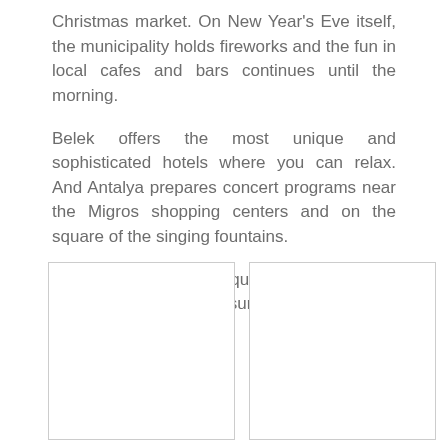Christmas market. On New Year's Eve itself, the municipality holds fireworks and the fun in local cafes and bars continues until the morning.
Belek offers the most unique and sophisticated hotels where you can relax. And Antalya prepares concert programs near the Migros shopping centers and on the square of the singing fountains.
Turkey can be a unique place where to celebrate New Year for sure!
[Figure (photo): Empty white image box (left)]
[Figure (photo): Empty white image box (right)]